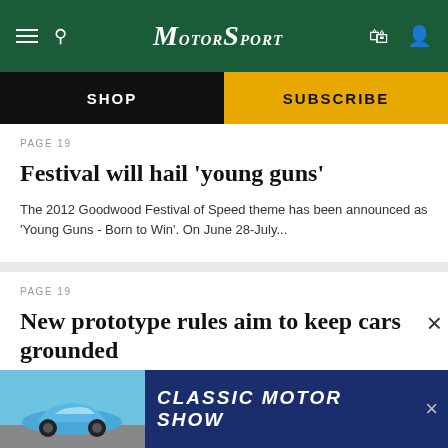Motor Sport
Festival will hail 'young guns'
PAGE 19
The 2012 Goodwood Festival of Speed theme has been announced as 'Young Guns - Born to Win'. On June 28-July...
PAGE 19
New prototype rules aim to keep cars grounded
The design of Le Mans prototypes will be tweaked again for 2012 in an attempt to further safeguard against cars...
[Figure (screenshot): Classic Motor Show advertisement banner at the bottom featuring a blue Porsche 911 car and text 'CLASSIC MOTOR SHOW' on dark blue background]